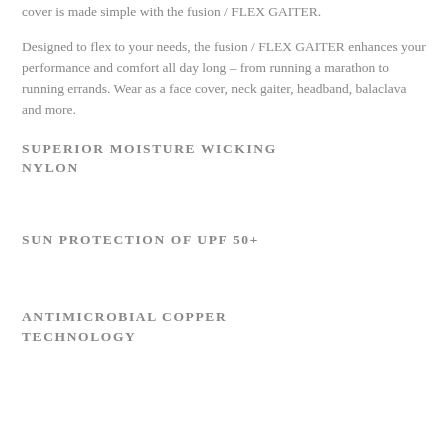cover is made simple with the fusion / FLEX GAITER.
Designed to flex to your needs, the fusion / FLEX GAITER enhances your performance and comfort all day long – from running a marathon to running errands. Wear as a face cover, neck gaiter, headband, balaclava and more.
SUPERIOR MOISTURE WICKING NYLON
SUN PROTECTION OF UPF 50+
ANTIMICROBIAL COPPER TECHNOLOGY